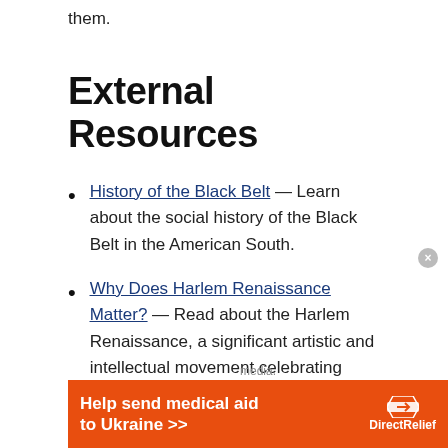them.
External Resources
History of the Black Belt — Learn about the social history of the Black Belt in the American South.
Why Does Harlem Renaissance Matter? — Read about the Harlem Renaissance, a significant artistic and intellectual movement celebrating African-American lives and culture.
[Figure (infographic): Orange advertisement banner: 'Help send medical aid to Ukraine >>' with DirectRelief logo]